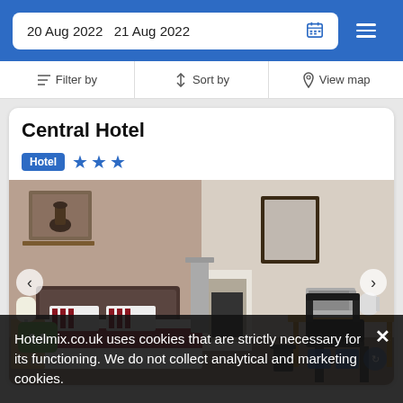20 Aug 2022  21 Aug 2022
Filter by  |  Sort by  |  View map
Central Hotel
Hotel ★★★
[Figure (photo): Hotel room with double bed, dark headboard, red striped throw, beside table with lamp, fireplace, desk with microwave and kettle, office chair]
6.8
Hotelmix.co.uk uses cookies that are strictly necessary for its functioning. We do not collect analytical and marketing cookies.